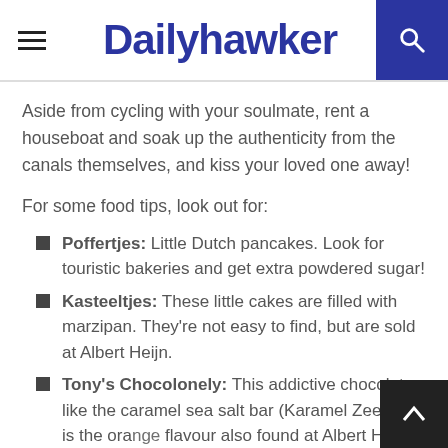Dailyhawker
Aside from cycling with your soulmate, rent a houseboat and soak up the authenticity from the canals themselves, and kiss your loved one away!
For some food tips, look out for:
Poffertjes: Little Dutch pancakes. Look for touristic bakeries and get extra powdered sugar!
Kasteeltjes: These little cakes are filled with marzipan. They're not easy to find, but are sold at Albert Heijn.
Tony's Chocolonely: This addictive chocolate like the caramel sea salt bar (Karamel Zeezalt) is the orange flavour also found at Albert Heijn.
Haring: Haring is a type of fish that many people eat raw or on a sandwich